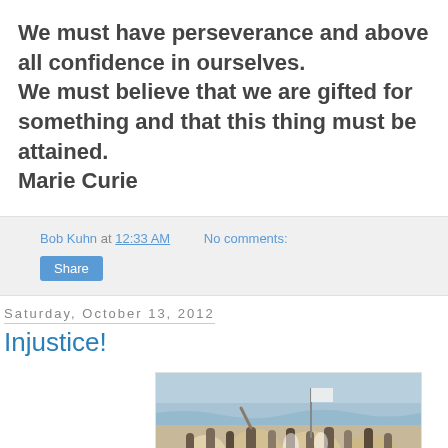We must have perseverance and above all confidence in ourselves. We must believe that we are gifted for something and that this thing must be attained. Marie Curie
Bob Kuhn at 12:33 AM   No comments:
Share
Saturday, October 13, 2012
Injustice!
[Figure (photo): Photo of a group of people on a boat at sea, waving, with a flag visible]